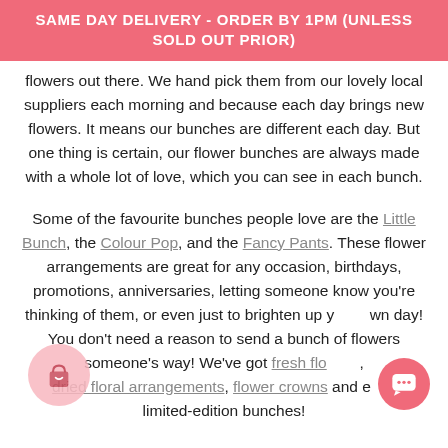SAME DAY DELIVERY - ORDER BY 1PM (UNLESS SOLD OUT PRIOR)
flowers out there. We hand pick them from our lovely local suppliers each morning and because each day brings new flowers. It means our bunches are different each day. But one thing is certain, our flower bunches are always made with a whole lot of love, which you can see in each bunch.
Some of the favourite bunches people love are the Little Bunch, the Colour Pop, and the Fancy Pants. These flower arrangements are great for any occasion, birthdays, promotions, anniversaries, letting someone know you're thinking of them, or even just to brighten up your own day! You don't need a reason to send a bunch of flowers someone's way! We've got fresh flowers, dried floral arrangements, flower crowns and e… limited-edition bunches!